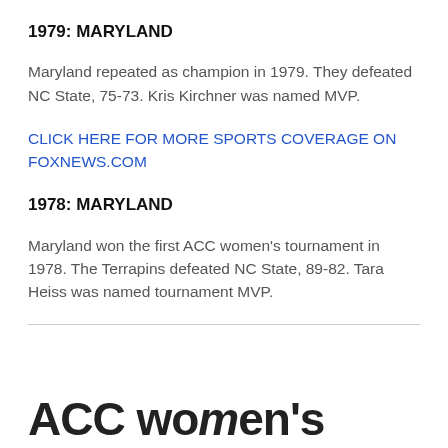1979: MARYLAND
Maryland repeated as champion in 1979. They defeated NC State, 75-73. Kris Kirchner was named MVP.
CLICK HERE FOR MORE SPORTS COVERAGE ON FOXNEWS.COM
1978: MARYLAND
Maryland won the first ACC women's tournament in 1978. The Terrapins defeated NC State, 89-82. Tara Heiss was named tournament MVP.
ACC women's